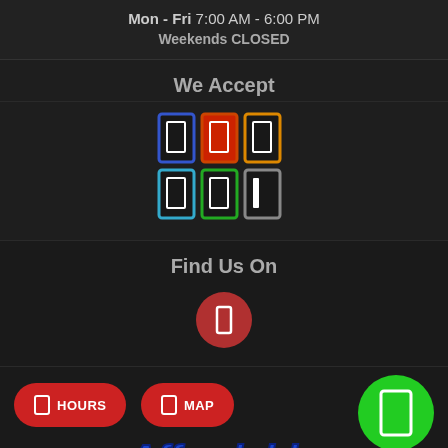Mon - Fri 7:00 AM - 6:00 PM
Weekends CLOSED
We Accept
[Figure (logo): Payment method icons arranged in two rows: top row has three card icons in blue, red/orange, and orange borders; bottom row has three icons with blue, green, and grey borders]
Find Us On
[Figure (logo): Red circle button with a small rectangle icon inside, representing a map/location social icon]
HOURS
MAP
[Figure (logo): Green circle with white rectangle outline icon]
Affordable